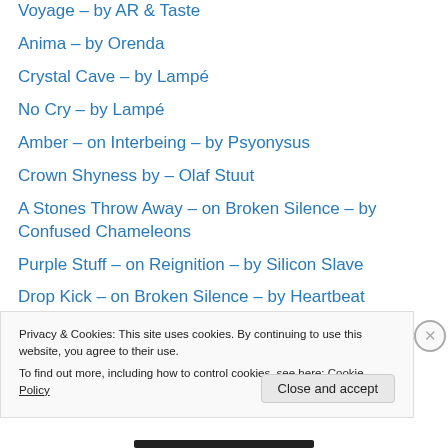Voyage – by AR & Taste
Anima – by Orenda
Crystal Cave – by Lampé
No Cry – by Lampé
Amber – on Interbeing – by Psyonysus
Crown Shyness by – Olaf Stuut
A Stones Throw Away – on Broken Silence – by Confused Chameleons
Purple Stuff – on Reignition – by Silicon Slave
Drop Kick – on Broken Silence – by Heartbeat
Oshimensis – on Altered Perceptions Vol.1 – by Kontrol Z
Privacy & Cookies: This site uses cookies. By continuing to use this website, you agree to their use. To find out more, including how to control cookies, see here: Cookie Policy
Close and accept